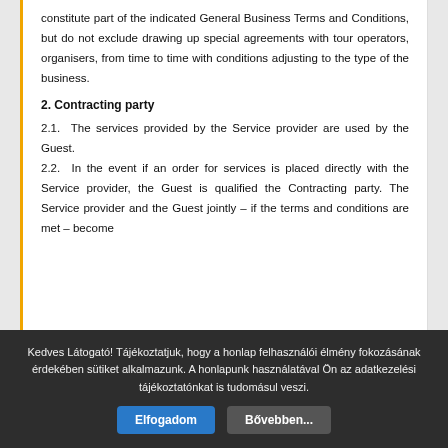constitute part of the indicated General Business Terms and Conditions, but do not exclude drawing up special agreements with tour operators, organisers, from time to time with conditions adjusting to the type of the business.
2. Contracting party
2.1. The services provided by the Service provider are used by the Guest.
2.2. In the event if an order for services is placed directly with the Service provider, the Guest is qualified the Contracting party. The Service provider and the Guest jointly – if the terms and conditions are met – become
Kedves Látogató! Tájékoztatjuk, hogy a honlap felhasználói élmény fokozásának érdekében sütiket alkalmazunk. A honlapunk használatával Ön az adatkezelési tájékoztatónkat is tudomásul veszi.